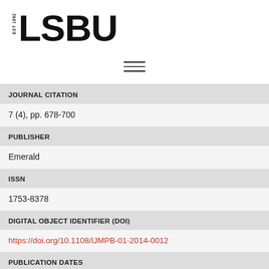[Figure (logo): LSBU logo with EST 1892 text and large bold LSBU letters]
JOURNAL CITATION
7 (4), pp. 678-700
PUBLISHER
Emerald
ISSN
1753-8378
DIGITAL OBJECT IDENTIFIER (DOI)
https://doi.org/10.1108/IJMPB-01-2014-0012
PUBLICATION DATES
PRINT